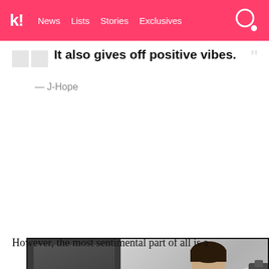k! News Lists Stories Exclusives
It also gives off positive vibes.
— J-Hope
[Figure (screenshot): Video player screenshot showing a split screen: left side is black-and-white with Korean text subtitles reading quote marks and Korean characters, right side shows a young Asian man in a light grey sweatshirt gesturing while speaking, with a play button overlay and subtitle 'You can either grow beautiful plants in it']
However, the most sentimental part of all is a